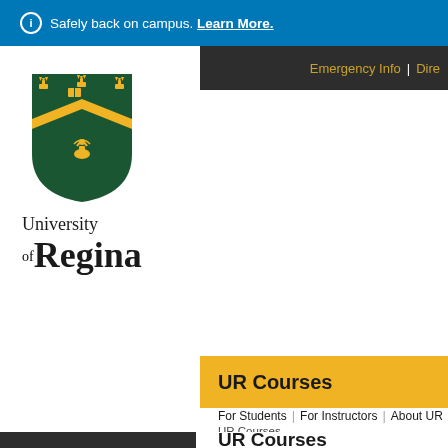ⓘ Safely back on campus. Learn More.
Emergency Info | Dire...
[Figure (logo): University of Regina shield logo with crown, book, and chevron in green and gold]
University of Regina
UR Courses
For Students | For Instructors | About UR
UR Courses
UR Courses